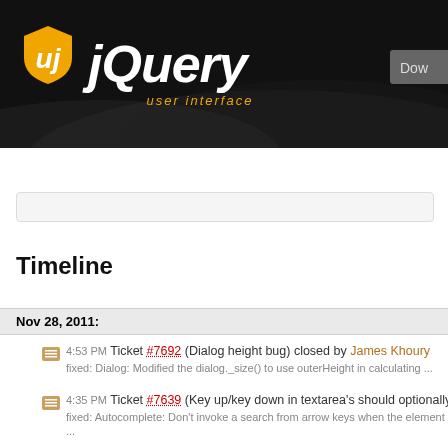[Figure (logo): jQuery User Interface logo — orange shield icon with white J and U merged, white italic bold 'jQuery' text, orange italic 'user interface' subtitle, on dark background with wave graphic. Partially visible 'Down' button top right.]
Nov 28, 2011:
Timeline
4:53 PM Ticket #7692 (Dialog height bug) closed by James Khoury
fixed: Dialog: Modified the dialog._size() to use outerHeight in calculating ...
4:35 PM Ticket #7639 (Key up/key down in textarea's should optionally not toggle auto-com
fixed: Autocomplete: Don't invoke a search from arrow keys when the element ...
3:17 PM Ticket #7914 (refresh not work with connectWith) closed by Scott González
Invalid: That's not how plugins work; you need to initialize the new div. ...
2:56 PM Ticket #7915 (removeClass with delay gives error in IE8) closed by Scott González
worksforme: I'm not seeing any problems with a valid test case: ...